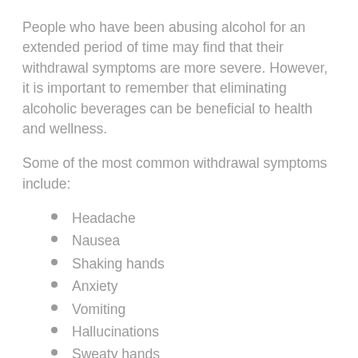People who have been abusing alcohol for an extended period of time may find that their withdrawal symptoms are more severe. However, it is important to remember that eliminating alcoholic beverages can be beneficial to health and wellness.
Some of the most common withdrawal symptoms include:
Headache
Nausea
Shaking hands
Anxiety
Vomiting
Hallucinations
Sweaty hands
Insomnia
Delirium tremens (DTs)